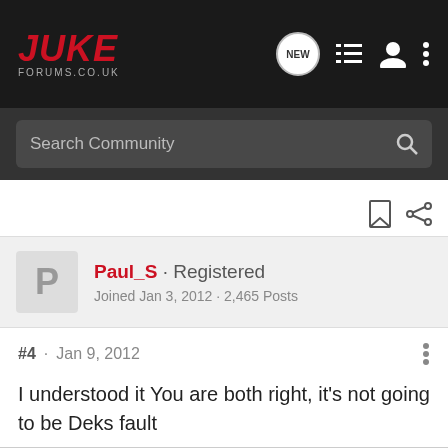[Figure (logo): Juke Forums.co.uk logo in red italic bold text on dark background]
Search Community
Paul_S · Registered
Joined Jan 3, 2012 · 2,465 Posts
#4 · Jan 9, 2012
I understood it You are both right, it's not going to be Deks fault